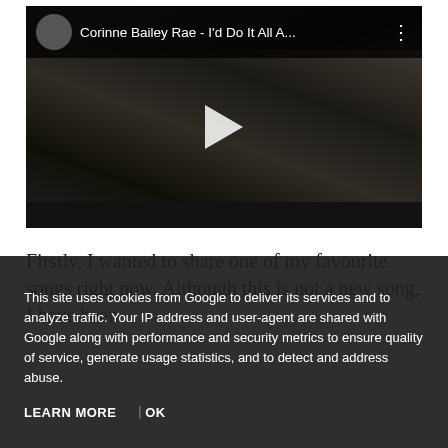[Figure (screenshot): YouTube video player showing 'Corinne Bailey Rae - I'd Do It All A...' with a dark scene of a person lying in bed. Video has a top bar with title and three-dot menu, a play button in the center, and a dark bottom control bar.]
Firstly, I wanted to share one of my favourite songs right now. Although this is not a new song, I have been ... the ... sources. ... long night evenings. Talking o... t the longest day of...
This site uses cookies from Google to deliver its services and to analyze traffic. Your IP address and user-agent are shared with Google along with performance and security metrics to ensure quality of service, generate usage statistics, and to detect and address abuse.